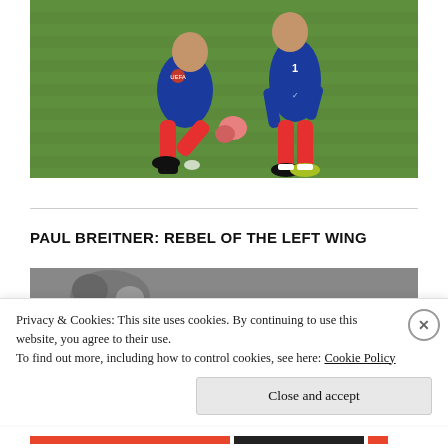[Figure (photo): Two France football players in blue kits on a green pitch. One player is kneeling, attending to the other player's leg/ankle. Both wear red socks and blue jerseys.]
PAUL BREITNER: REBEL OF THE LEFT WING
[Figure (photo): Black and white photo strip, partial view of a football-related image.]
Privacy & Cookies: This site uses cookies. By continuing to use this website, you agree to their use.
To find out more, including how to control cookies, see here: Cookie Policy
Close and accept